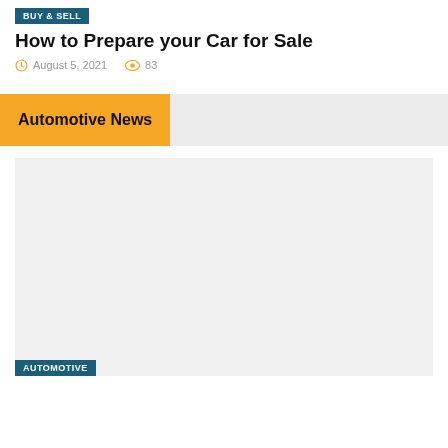BUY & SELL
How to Prepare your Car for Sale
August 5, 2021   83
Automotive News
[Figure (photo): Large light gray placeholder image area with an AUTOMOTIVE tag visible at the bottom left corner]